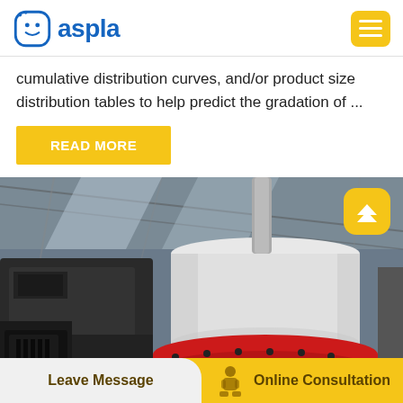aspla
cumulative distribution curves, and/or product size distribution tables to help predict the gradation of ...
READ MORE
[Figure (photo): Industrial machinery photo showing a large white cylindrical cone crusher component with red flange base, viewed from below inside a factory/warehouse with steel roof structure. A yellow scroll-to-top button overlay is visible in the top-right corner.]
Leave Message | Online Consultation